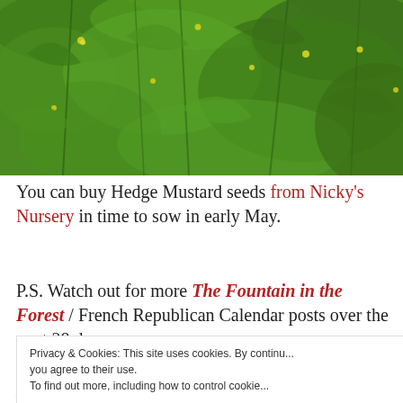[Figure (photo): Close-up photo of green hedge mustard plant with small yellow flowers and leafy stems against a green background.]
You can buy Hedge Mustard seeds from Nicky's Nursery in time to sow in early May.
P.S. Watch out for more The Fountain in the Forest / French Republican Calendar posts over the next 28 days.
*According to Charles-Gilbert Romme's rule for
Privacy & Cookies: This site uses cookies. By continuing to use this website, you agree to their use. To find out more, including how to control cookies, see here: Cookie Policy
Close and accept
Buy The Fountain in the Forest direct from